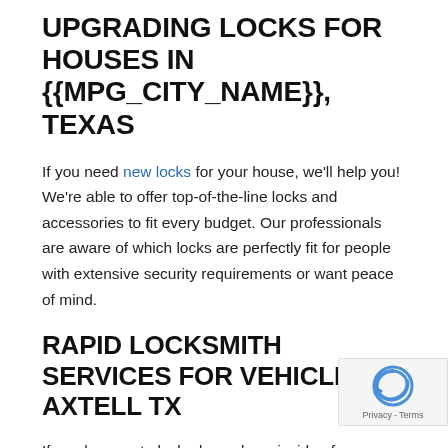UPGRADING LOCKS FOR HOUSES IN {{MPG_CITY_NAME}}, TEXAS
If you need new locks for your house, we'll help you! We're able to offer top-of-the-line locks and accessories to fit every budget. Our professionals are aware of which locks are perfectly fit for people with extensive security requirements or want peace of mind.
RAPID LOCKSMITH SERVICES FOR VEHICLES IN AXTELL TX
If you happen to locked your keys inside of your we're the company to call up! Our locksmith professionals will pack their tools and devices with